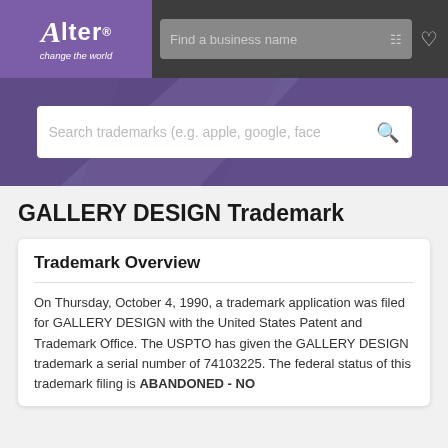[Figure (logo): Alter 'change the world' logo in purple box, navigation bar with Find a business name search field, filter icon, and heart icon]
[Figure (screenshot): Purple hero banner with search bar: 'Search trademarks (e.g. apple, google, face']
GALLERY DESIGN Trademark
Trademark Overview
On Thursday, October 4, 1990, a trademark application was filed for GALLERY DESIGN with the United States Patent and Trademark Office. The USPTO has given the GALLERY DESIGN trademark a serial number of 74103225. The federal status of this trademark filing is ABANDONED - NO